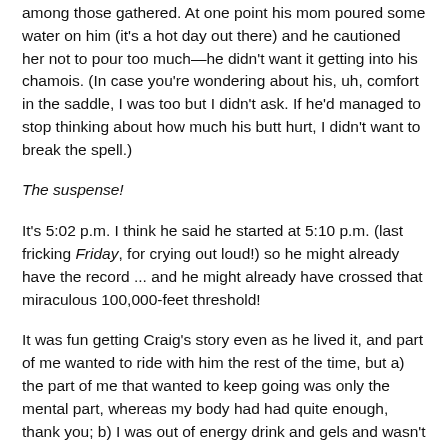among those gathered.  At one point his mom poured some water on him (it's a hot day out there) and he cautioned her not to pour too much—he didn't want it getting into his chamois.  (In case you're wondering about his, uh, comfort in the saddle, I was too but I didn't ask.  If he'd managed to stop thinking about how much his butt hurt, I didn't want to break the spell.)
The suspense!
It's 5:02 p.m.  I think he said he started at 5:10 p.m. (last fricking Friday, for crying out loud!) so he might already have the record ... and he might already have crossed that miraculous 100,000-feet threshold!
It was fun getting Craig's story even as he lived it, and part of me wanted to ride with him the rest of the time, but a) the part of me that wanted to keep going was only the mental part, whereas my body had had quite enough, thank you; b) I was out of energy drink and gels and wasn't about to bum some off him; and c) I was sure he'd get sick of me.  (I would.)  So I rolled home at around 12:20 p.m., thinking how